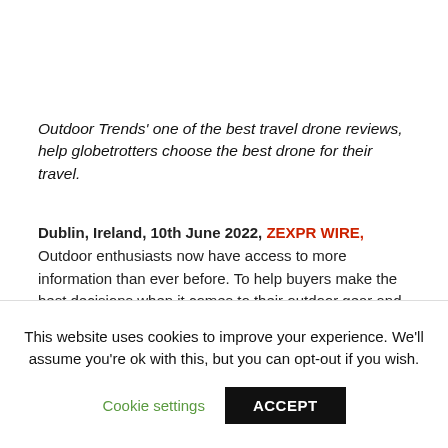Outdoor Trends' one of the best travel drone reviews, help globetrotters choose the best drone for their travel.
Dublin, Ireland, 10th June 2022, ZEXPR WIRE, Outdoor enthusiasts now have access to more information than ever before. To help buyers make the best decisions when it comes to their outdoor gear and apparel, Outdoor Trends provides a series of comprehensive buyer's guides. These guides cover everything from land boards to rifle
This website uses cookies to improve your experience. We'll assume you're ok with this, but you can opt-out if you wish.
Cookie settings
ACCEPT